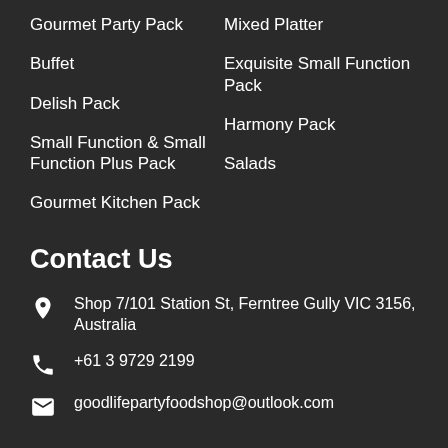Gourmet Party Pack
Mixed Platter
Buffet
Exquisite Small Function Pack
Delish Pack
Harmony Pack
Small Function & Small Function Plus Pack
Salads
Gourmet Kitchen Pack
Contact Us
Shop 7/101 Station St, Ferntree Gully VIC 3156, Australia
+61 3 9729 2199
goodlifepartyfoodshop@outlook.com